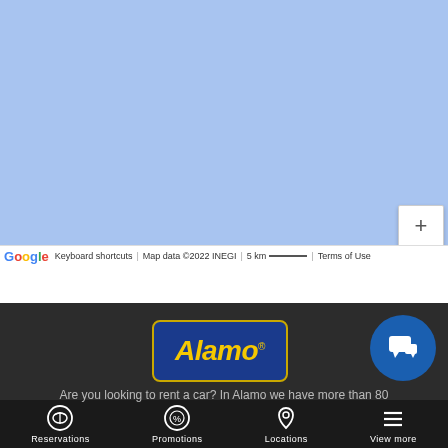[Figure (map): Google Maps view showing a light blue area (likely ocean or water body). Zoom controls (+/-) visible on right side.]
Google  Keyboard shortcuts  |  Map data ©2022 INEGI  |  5 km  |  Terms of Use
[Figure (logo): Alamo car rental logo: blue rounded rectangle with yellow italic text 'Alamo' and registered trademark symbol]
[Figure (other): Blue circular chat/message button with white speech bubble icon]
Are you looking to rent a car? In Alamo we have more than 80
Reservations
Promotions
Locations
View more